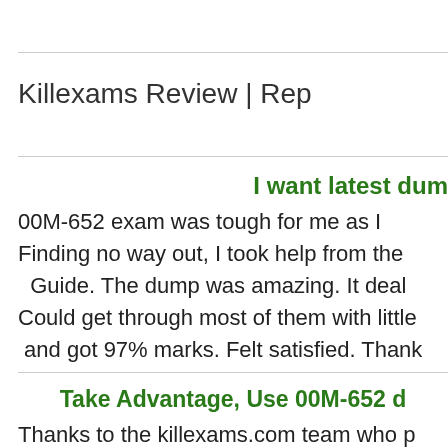Killexams Review | Rep
I want latest dum
00M-652 exam was tough for me as I Finding no way out, I took help from the Guide. The dump was amazing. It deal Could get through most of them with little and got 97% marks. Felt satisfied. Thank
Take Advantage, Use 00M-652 d
Thanks to the killexams.com team who p